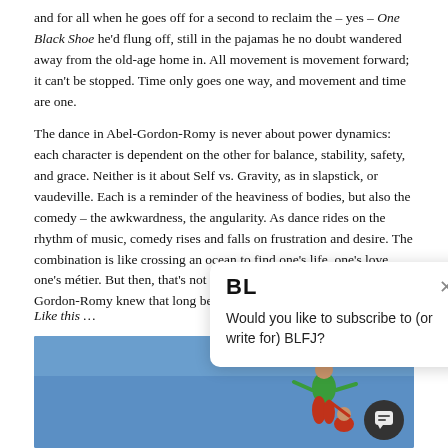and for all when he goes off for a second to reclaim the – yes – One Black Shoe he'd flung off, still in the pajamas he no doubt wandered away from the old-age home in. All movement is movement forward; it can't be stopped. Time only goes one way, and movement and time are one.
The dance in Abel-Gordon-Romy is never about power dynamics: each character is dependent on the other for balance, stability, safety, and grace. Neither is it about Self vs. Gravity, as in slapstick, or vaudeville. Each is a reminder of the heaviness of bodies, but also the comedy – the awkwardness, the angularity. As dance rides on the rhythm of music, comedy rises and falls on frustration and desire. The combination is like crossing an ocean to find one's life, one's love, one's métier. But then, that's not an original observation; Abel-Gordon-Romy knew that long before I did, and they expressed it –
Like this …
[Figure (infographic): Popup/modal overlay with BL logo and text: Would you like to subscribe to (or write for) BLFJ?]
[Figure (photo): Blue sky background with two performers/dancers, one in green top and red pants, in a dance pose]